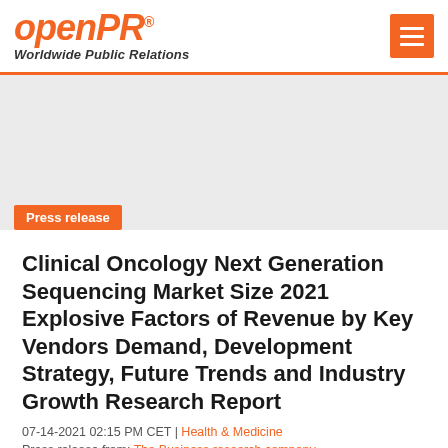openPR® Worldwide Public Relations
Press release
Clinical Oncology Next Generation Sequencing Market Size 2021 Explosive Factors of Revenue by Key Vendors Demand, Development Strategy, Future Trends and Industry Growth Research Report
07-14-2021 02:15 PM CET | Health & Medicine
Press release from: The Business research company